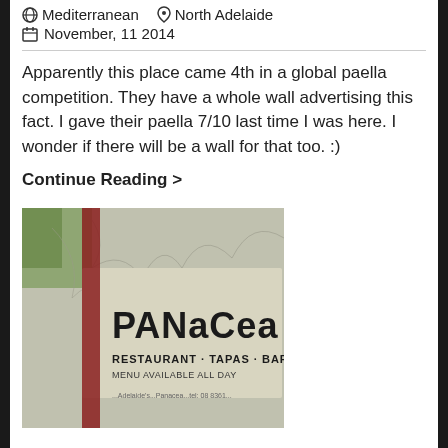Mediterranean  North Adelaide
November, 11 2014
Apparently this place came 4th in a global paella competition. They have a whole wall advertising this fact. I gave their paella 7/10 last time I was here. I wonder if there will be a wall for that too. :)
Continue Reading >
[Figure (photo): Photo of Panacea Restaurant Tapas Bar sign reading 'PANACEA RESTAURANT · TAPAS · BAR MENU AVAILABLE ALL DAY']
Panacea